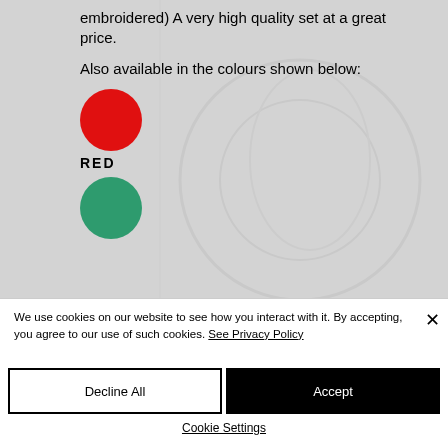embroidered)  A very high quality set at a great price.
Also available in the colours shown below:
[Figure (illustration): Red circle colour swatch]
RED
[Figure (illustration): Green circle colour swatch (partially visible)]
We use cookies on our website to see how you interact with it. By accepting, you agree to our use of such cookies. See Privacy Policy
Decline All
Accept
Cookie Settings